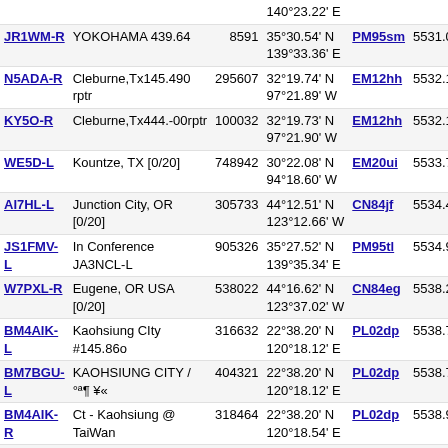| Callsign | Name/Location | Node | Coordinates | Grid | Freq |
| --- | --- | --- | --- | --- | --- |
|  |  |  | 140°23.22' E |  |  |
| JR1WM-R | YOKOHAMA 439.64 | 8591 | 35°30.54' N 139°33.36' E | PM95sm | 5531.0 |
| N5ADA-R | Cleburne,Tx145.490 rptr | 295607 | 32°19.74' N 97°21.89' W | EM12hh | 5532.1 |
| KY5O-R | Cleburne,Tx444.-00rptr | 100032 | 32°19.73' N 97°21.90' W | EM12hh | 5532.1 |
| WE5D-L | Kountze, TX [0/20] | 748942 | 30°22.08' N 94°18.60' W | EM20ui | 5533.7 |
| AI7HL-L | Junction City, OR [0/20] | 305733 | 44°12.51' N 123°12.66' W | CN84jf | 5534.4 |
| JS1FMV-L | In Conference JA3NCL-L | 905326 | 35°27.52' N 139°35.34' E | PM95tl | 5534.9 |
| W7PXL-R | Eugene, OR USA [0/20] | 538022 | 44°16.62' N 123°37.02' W | CN84eg | 5538.2 |
| BM4AIK-L | Kaohsiung CIty #145.86o | 316632 | 22°38.20' N 120°18.12' E | PL02dp | 5538.7 |
| BM7BGU-L | KAOHSIUNG CITY / °ª¶ ¥« | 404321 | 22°38.20' N 120°18.12' E | PL02dp | 5538.7 |
| BM4AIK-R | Ct - Kaohsiung @ TaiWan | 318464 | 22°38.20' N 120°18.54' E | PL02dp | 5538.9 |
| W5RIN-R | Beaumont, Texas | 593166 | 30°12.00' N 94°12.00' W | EM20ve | 5539.1 |
| W7DGS-L | springfield or [0/20] | 773900 | 44°02.20' N 122°57.18' W | CN84ma | 5540.0 |
| KC5YSM-L | Port Neches, TX [0/20] | 450004 | 29°58.50' N 93°59.58' W | EL39ax | 5544.0 |